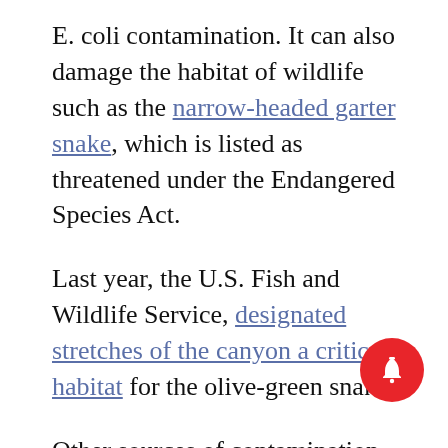E. coli contamination. It can also damage the habitat of wildlife such as the narrow-headed garter snake, which is listed as threatened under the Endangered Species Act.
Last year, the U.S. Fish and Wildlife Service, designated stretches of the canyon a critical habitat for the olive-green snake.
Other sources of contamination come from trash that pollutes the water and attracts wildlife, which then leave their feces in the creek. Contamination can also come from pet and human feces in what's known as “honey bucket situations”